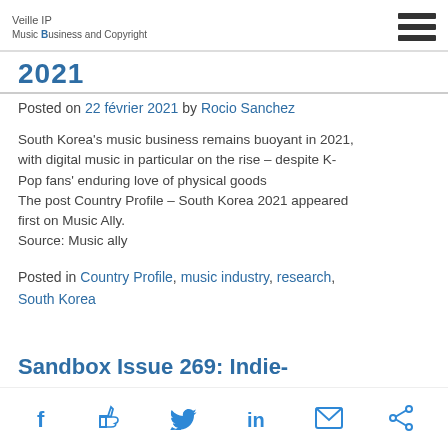Veille IP Music Business and Copyright
2021
Posted on 22 février 2021 by Rocio Sanchez
South Korea's music business remains buoyant in 2021, with digital music in particular on the rise – despite K-Pop fans' enduring love of physical goods
The post Country Profile – South Korea 2021 appeared first on Music Ally.
Source: Music ally
Posted in Country Profile, music industry, research, South Korea
Sandbox Issue 269: Indie-
Social share icons: Facebook, Like, Twitter, LinkedIn, Email, Share